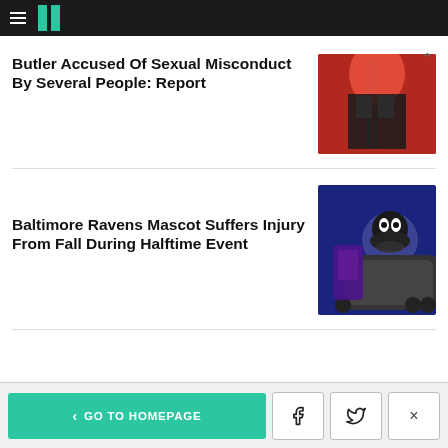HuffPost
Butler Accused Of Sexual Misconduct By Several People: Report
[Figure (photo): Person with red hair in dark clothing, concert or event setting]
Baltimore Ravens Mascot Suffers Injury From Fall During Halftime Event
[Figure (photo): Baltimore Ravens mascot in wheelchair being assisted at a stadium event]
< GO TO HOMEPAGE